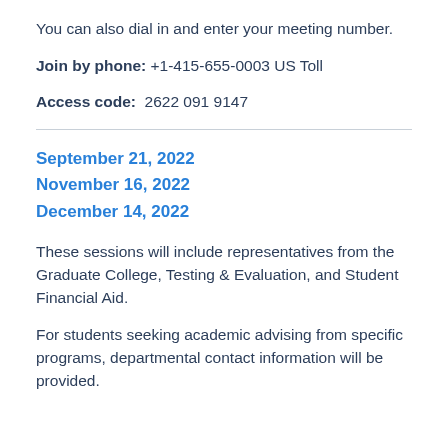You can also dial in and enter your meeting number.
Join by phone: +1-415-655-0003 US Toll
Access code: 2622 091 9147
September 21, 2022
November 16, 2022
December 14, 2022
These sessions will include representatives from the Graduate College, Testing & Evaluation, and Student Financial Aid.
For students seeking academic advising from specific programs, departmental contact information will be provided.